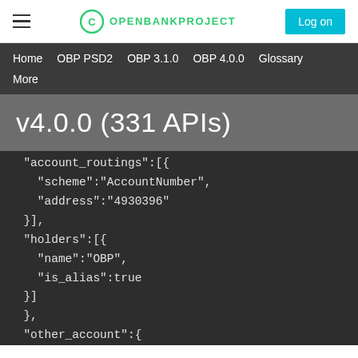OPENBANKPROJECT | Log on
Home | OBP PSD2 | OBP 3.1.0 | OBP 4.0.0 | Glossary | More
v4.0.0 (331 APIs)
"account_routings":[{
  "scheme":"AccountNumber",
  "address":"4930396"
}],
"holders":[{
  "name":"OBP",
  "is_alias":true
}]
},
"other_account":{